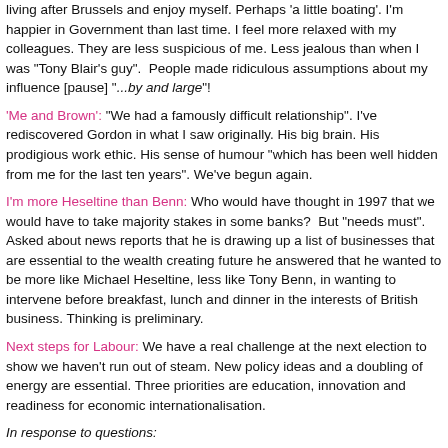living after Brussels and enjoy myself. Perhaps 'a little boating'. I'm happier in Government than last time. I feel more relaxed with my colleagues. They are less suspicious of me. Less jealous than when I was "Tony Blair's guy". People made ridiculous assumptions about my influence [pause] "...by and large"!
'Me and Brown': "We had a famously difficult relationship". I've rediscovered Gordon in what I saw originally. His big brain. His prodigious work ethic. His sense of humour "which has been well hidden from me for the last ten years". We've begun again.
I'm more Heseltine than Benn: Who would have thought in 1997 that we would have to take majority stakes in some banks? But "needs must". Asked about news reports that he is drawing up a list of businesses that are essential to the wealth creating future he answered that he wanted to be more like Michael Heseltine, less like Tony Benn, in wanting to intervene before breakfast, lunch and dinner in the interests of British business. Thinking is preliminary.
Next steps for Labour: We have a real challenge at the next election to show we haven't run out of steam. New policy ideas and a doubling of energy are essential. Three priorities are education, innovation and readiness for economic internationalisation.
In response to questions:
The Euro: Europe is our domestic market and our currency belongs in the euro. Within the currency we'll eliminate transaction costs and be part of the monetary...